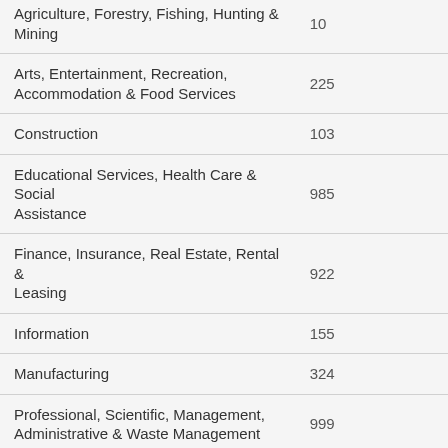| Industry | Value |
| --- | --- |
| Agriculture, Forestry, Fishing, Hunting & Mining | 10 |
| Arts, Entertainment, Recreation, Accommodation & Food Services | 225 |
| Construction | 103 |
| Educational Services, Health Care & Social Assistance | 985 |
| Finance, Insurance, Real Estate, Rental & Leasing | 922 |
| Information | 155 |
| Manufacturing | 324 |
| Professional, Scientific, Management, Administrative & Waste Management | 999 |
| Public Administration | 94 |
| Retail Trade | 336 |